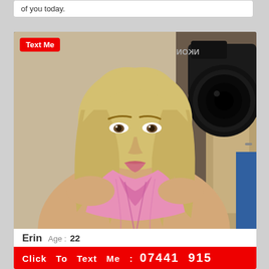of you today.
[Figure (photo): A young blonde woman in a pink top taking a selfie in a mirror; a DSLR camera is visible in the background. A red 'Text Me' badge appears in the top-left corner of the photo.]
Erin  Age : 22
Click To Text Me :  07441 915